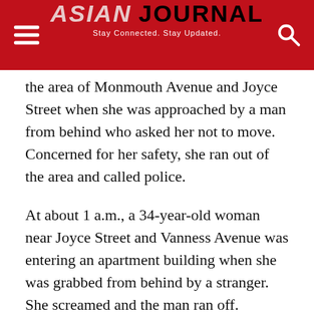ASIAN JOURNAL — Stay Connected. Stay Updated.
the area of Monmouth Avenue and Joyce Street when she was approached by a man from behind who asked her not to move. Concerned for her safety, she ran out of the area and called police.
At about 1 a.m., a 34-year-old woman near Joyce Street and Vanness Avenue was entering an apartment building when she was grabbed from behind by a stranger. She screamed and the man ran off.
Around 2 a.m., a 21-year-old woman on East 46th Avenue near Doman Street was grabbed from behind by a man. He pulled her into bushes outside an unoccupied house where she was sexually assaulted.